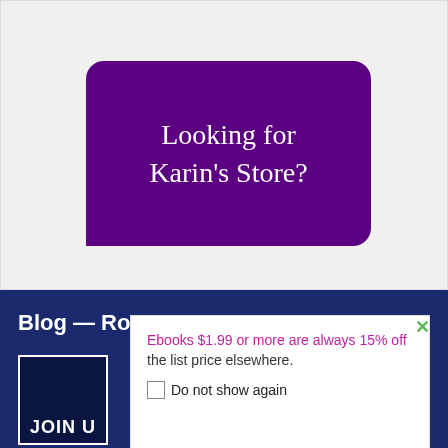[Figure (illustration): Purple rounded rectangle card on light gray background with text 'Looking for Karin's Store?']
Looking for Karin's Store?
Blog — Ro...
[Figure (illustration): Dark book cover with 'JOIN U' text visible, on dark blue background]
Ebooks $1.99 or more are always 15% off the list price elsewhere.
Do not show again